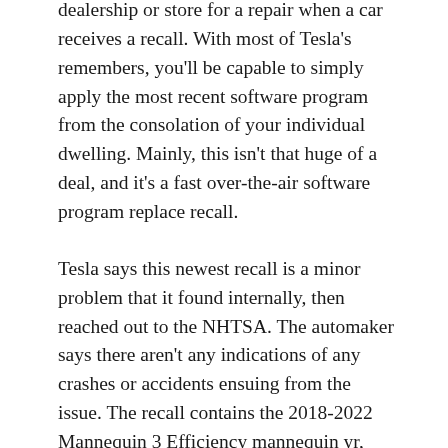dealership or store for a repair when a car receives a recall. With most of Tesla's remembers, you'll be capable to simply apply the most recent software program from the consolation of your individual dwelling. Mainly, this isn't that huge of a deal, and it's a fast over-the-air software program replace recall.
Tesla says this newest recall is a minor problem that it found internally, then reached out to the NHTSA. The automaker says there aren't any indications of any crashes or accidents ensuing from the issue. The recall contains the 2018-2022 Mannequin 3 Efficiency mannequin yr, working firmware releases 2021.44.25 or later, as much as the 2022.12 model.
In line with Tesla, a brand new software program replace for Observe Mode began rolling out round April